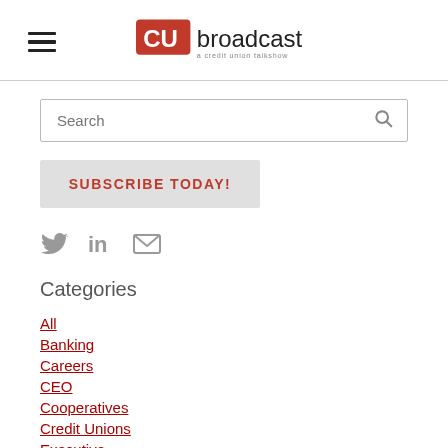[Figure (logo): CU Broadcast logo - red CU box with 'broadcast' text and 'a credit union talkshow' tagline]
Search
SUBSCRIBE TODAY!
[Figure (illustration): Social media icons: Twitter bird, LinkedIn 'in', envelope/email]
Categories
All
Banking
Careers
CEO
Cooperatives
Credit Unions
Executive